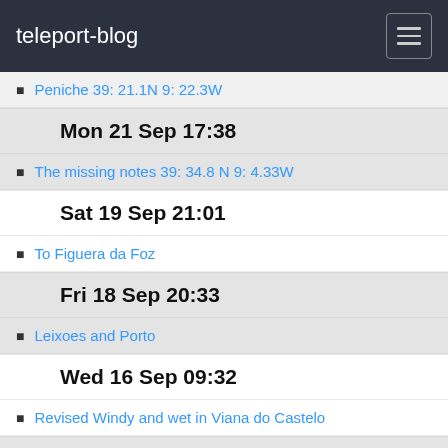teleport-blog
Peniche 39: 21.1N 9: 22.3W
Mon 21 Sep 17:38
The missing notes 39: 34.8 N 9: 4.33W
Sat 19 Sep 21:01
To Figuera da Foz
Fri 18 Sep 20:33
Leixoes and Porto
Wed 16 Sep 09:32
Revised Windy and wet in Viana do Castelo
Tue 15 Sep 09:34
To Portugal 41:41.6N 8:49.4W
Escape from Cangas
Sat 12 Sep 10:22
Cangas and rigging repairs
Mon 7 Sep 18:45